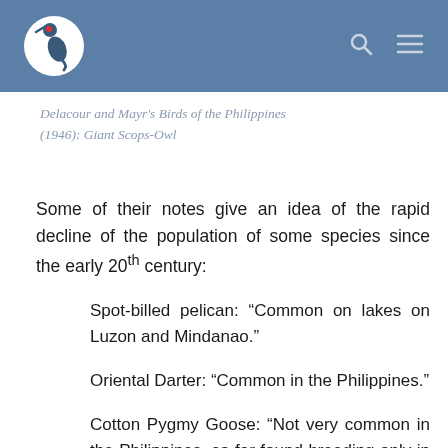Delacour and Mayr's Birds of the Philippines (1946): Giant Scops-Owl
Some of their notes give an idea of the rapid decline of the population of some species since the early 20th century:
Spot-billed pelican: “Common on lakes on Luzon and Mindanao.”
Oriental Darter: “Common in the Philippines.”
Cotton Pygmy Goose: “Not very common in the Philippines, so far found breeding only in Luzon.”